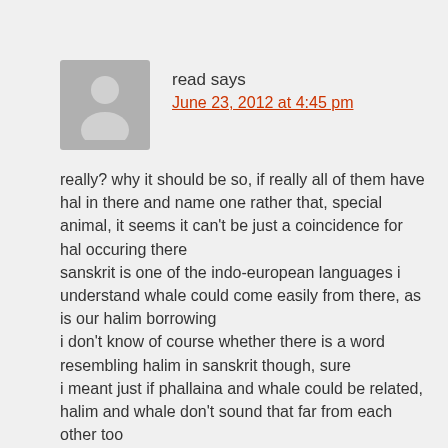[Figure (illustration): Grey avatar silhouette of a person placeholder image]
read says
June 23, 2012 at 4:45 pm
really? why it should be so, if really all of them have hal in there and name one rather that, special animal, it seems it can't be just a coincidence for hal occuring there
sanskrit is one of the indo-european languages i understand whale could come easily from there, as is our halim borrowing
i don't know of course whether there is a word resembling halim in sanskrit though, sure
i meant just if phallaina and whale could be related, halim and whale don't sound that far from each other too
i wish of course SFR would provide there a more convincing and helpful list of possibly related words